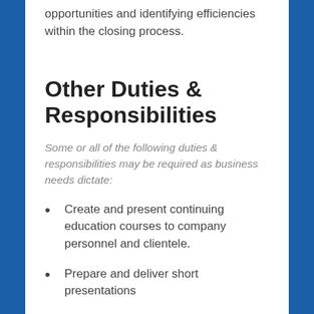opportunities and identifying efficiencies within the closing process.
Other Duties & Responsibilities
Some or all of the following duties & responsibilities may be required as business needs dictate:
Create and present continuing education courses to company personnel and clientele.
Prepare and deliver short presentations